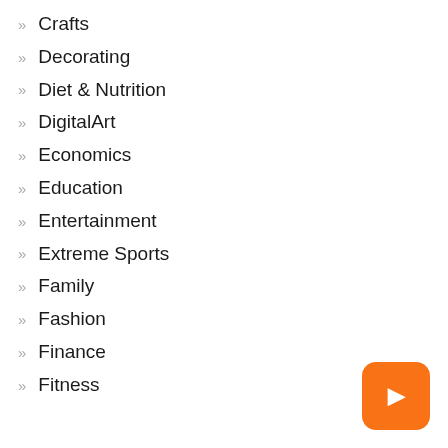Crafts
Decorating
Diet & Nutrition
DigitalArt
Economics
Education
Entertainment
Extreme Sports
Family
Fashion
Finance
Fitness